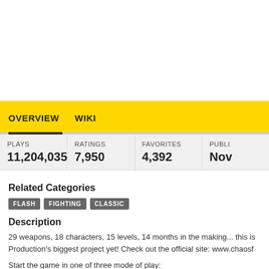OVERVIEW   WIKI
| PLAYS | RATINGS | FAVORITES | PUBLI... |
| --- | --- | --- | --- |
| 11,204,035 | 7,950 | 4,392 | Nov |
Related Categories
FLASH
FIGHTING
CLASSIC
Description
29 weapons, 18 characters, 15 levels, 14 months in the making... this is Production's biggest project yet! Check out the official site: www.chaosf
Start the game in one of three mode of play:
CAMPAIGN: Defeat the boss of each arena to unlock extra characters, levels